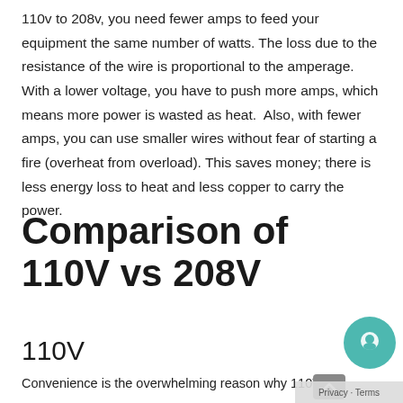110v to 208v, you need fewer amps to feed your equipment the same number of watts. The loss due to the resistance of the wire is proportional to the amperage. With a lower voltage, you have to push more amps, which means more power is wasted as heat.  Also, with fewer amps, you can use smaller wires without fear of starting a fire (overheat from overload). This saves money; there is less energy loss to heat and less copper to carry the power.
Comparison of 110V vs 208V
110V
Convenience is the overwhelming reason why 110V is...